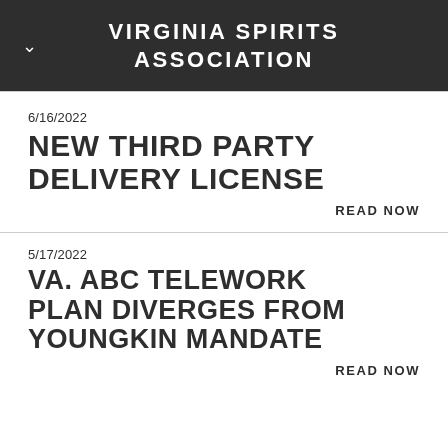VIRGINIA SPIRITS ASSOCIATION
6/16/2022
NEW THIRD PARTY DELIVERY LICENSE
READ NOW
5/17/2022
VA. ABC TELEWORK PLAN DIVERGES FROM YOUNGKIN MANDATE
READ NOW